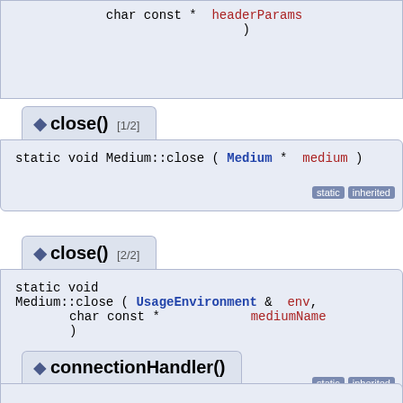char const *& headerParams )
◆ close() [1/2]
static void Medium::close ( Medium * medium ) [static] [inherited]
◆ close() [2/2]
static void Medium::close ( UsageEnvironment & env, char const * mediumName ) [static] [inherited]
◆ connectionHandler()